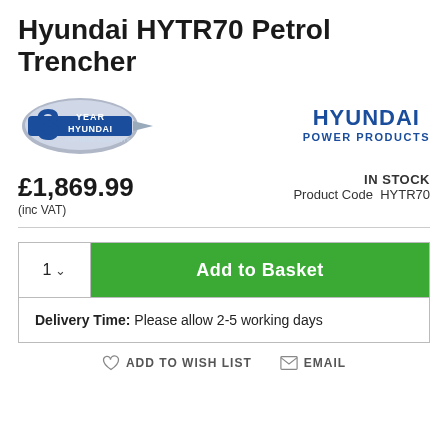Hyundai HYTR70 Petrol Trencher
[Figure (logo): 3 Year Hyundai Platinum Warranty badge logo]
[Figure (logo): HYUNDAI POWER PRODUCTS logo in blue]
£1,869.99
(inc VAT)
IN STOCK
Product Code  HYTR70
1  Add to Basket
Delivery Time: Please allow 2-5 working days
ADD TO WISH LIST   EMAIL